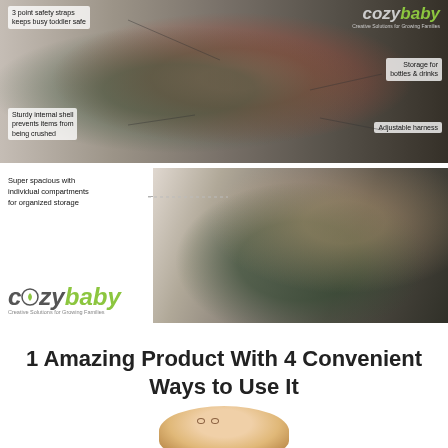[Figure (photo): Toddler sitting in a restaurant chair wearing a pink outfit, secured with a colored bag/seat product. Annotations point to features.]
3 point safety straps keeps busy toddler safe
Storage for bottles & drinks
Sturdy internal shell prevents items from being crushed
Adjustable harness
[Figure (photo): A mother with red hair opening a large black bag with colorful compartments/organizers on a wooden deck.]
Super spacious with individual compartments for organized storage
[Figure (logo): Cozy Baby logo - Creative Solutions for Growing Families]
1 Amazing Product With 4 Convenient Ways to Use It
[Figure (photo): Baby/toddler face, smiling, bottom of page]